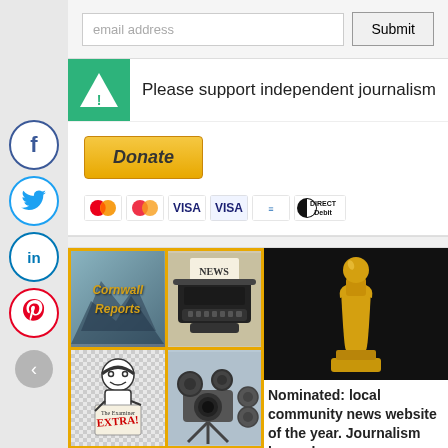email address
Submit
[Figure (logo): Green triangle/A logo for Cornwall Reports]
Please support independent journalism
[Figure (other): PayPal Donate button with payment card icons: Mastercard, Visa, Direct Debit]
[Figure (photo): 2x2 grid of journalism images: Cornwall Reports logo over mountain scene, typewriter with NEWS paper, cartoon newsboy with EXTRA newspaper, vintage film camera]
[Figure (photo): Gold Oscar statuette on black background]
Nominated: local community news website of the year. Journalism has value